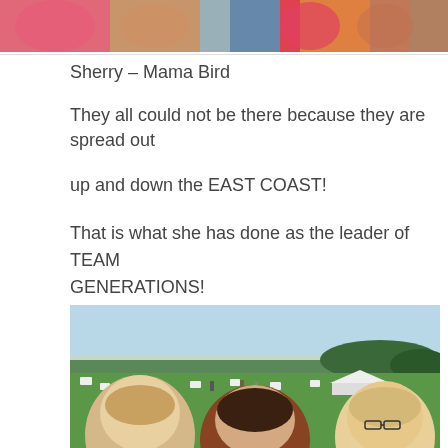[Figure (photo): Cropped top portion of a group photo showing women in colorful clothing]
Sherry – Mama Bird
They all could not be there because they are spread out
up and down the EAST COAST!
That is what she has done as the leader of TEAM GENERATIONS!
[Figure (photo): Outdoor photo of women at a hillside event venue with lawn chairs and a scenic valley view; three women visible in foreground selfie]